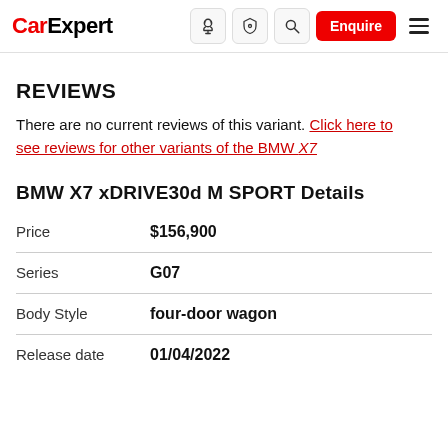CarExpert — Enquire
REVIEWS
There are no current reviews of this variant. Click here to see reviews for other variants of the BMW X7
BMW X7 xDRIVE30d M SPORT Details
|  |  |
| --- | --- |
| Price | $156,900 |
| Series | G07 |
| Body Style | four-door wagon |
| Release date | 01/04/2022 |